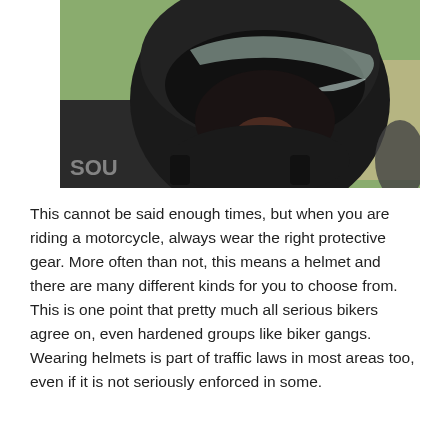[Figure (photo): Close-up photo of a person wearing a black full-face motorcycle helmet with a clear visor, partially lifted. Background is blurred green and beige. A watermark 'SOU' is visible in lower left.]
This cannot be said enough times, but when you are riding a motorcycle, always wear the right protective gear. More often than not, this means a helmet and there are many different kinds for you to choose from. This is one point that pretty much all serious bikers agree on, even hardened groups like biker gangs. Wearing helmets is part of traffic laws in most areas too, even if it is not seriously enforced in some.